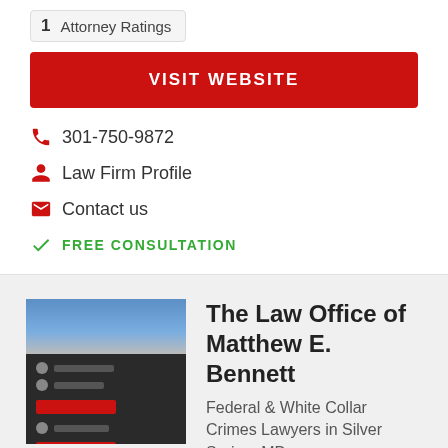1  Attorney Ratings
VISIT WEBSITE
301-750-9872
Law Firm Profile
Contact us
FREE CONSULTATION
[Figure (screenshot): Screenshot thumbnail of The Law Office of Matthew E. Bennett website showing a dark-themed legal website with blue header image and red call-to-action button]
The Law Office of Matthew E. Bennett
Federal & White Collar Crimes Lawyers in Silver Spring, MD
Past client? Leave a review.
1  Super Lawyers*